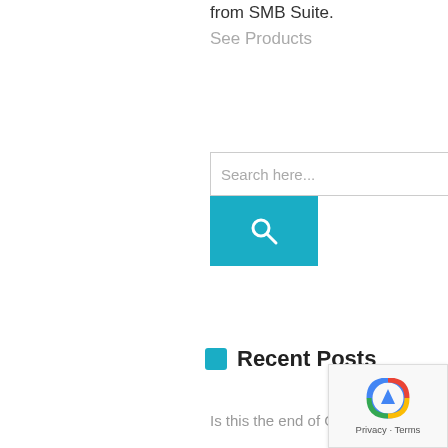from SMB Suite.
See Products
Search here...
Recent Posts
Is this the end of Great Plains (Dynamics GP)?
How set up Bank Reconciliation in Microsoft Dynamics GP (Part 2 of 2)
How set up Bank Reconciliation in Microsoft Dynamics GP (Part 1 of 2)
Top 3 Ways Managed Services Helps Retain